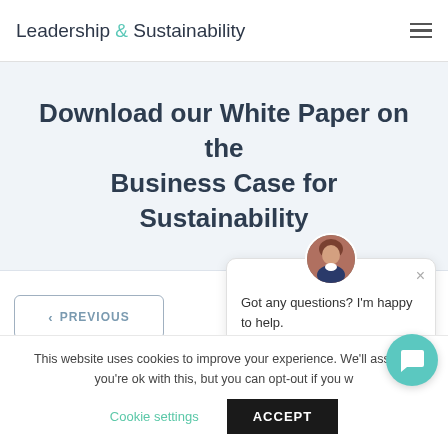Leadership & Sustainability
Download our White Paper on the Business Case for Sustainability
‹ PREVIOUS
[Figure (screenshot): Chat popup with avatar photo of a woman, close button, and text: Got any questions? I'm happy to help.]
This website uses cookies to improve your experience. We'll assume you're ok with this, but you can opt-out if you w
Cookie settings
ACCEPT